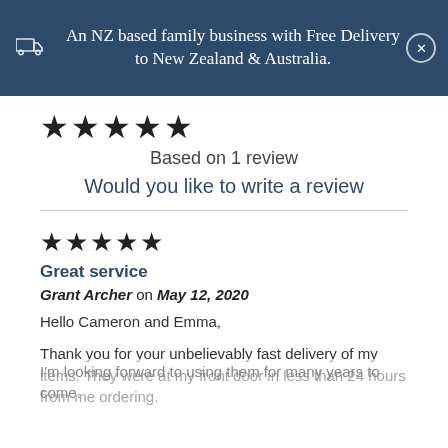An NZ based family business with Free Delivery to New Zealand & Australia.
★★★★★
Based on 1 review
Would you like to write a review
★★★★★
Great service
Grant Archer on May 12, 2020
Hello Cameron and Emma,
Thank you for your unbelievably fast delivery of my items. They were at my front door in less than 24 hours from me ordering.
I'm looking forward to using them for many years to come.